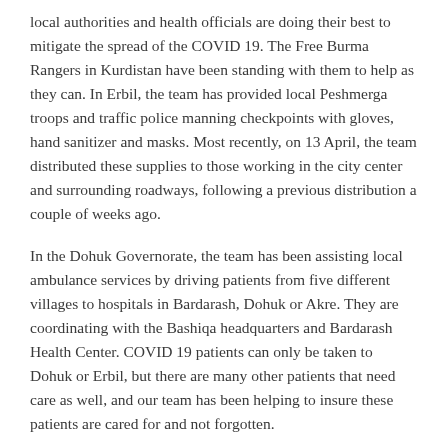local authorities and health officials are doing their best to mitigate the spread of the COVID 19. The Free Burma Rangers in Kurdistan have been standing with them to help as they can. In Erbil, the team has provided local Peshmerga troops and traffic police manning checkpoints with gloves, hand sanitizer and masks. Most recently, on 13 April, the team distributed these supplies to those working in the city center and surrounding roadways, following a previous distribution a couple of weeks ago.
In the Dohuk Governorate, the team has been assisting local ambulance services by driving patients from five different villages to hospitals in Bardarash, Dohuk or Akre. They are coordinating with the Bashiqa headquarters and Bardarash Health Center. COVID 19 patients can only be taken to Dohuk or Erbil, but there are many other patients that need care as well, and our team has been helping to insure these patients are cared for and not forgotten.
We will continue to support local efforts to contain COVID 19 in all the areas where we operate, as well as continue our normal work of standing with the people in war-torn or otherwise oppressed areas. We believe God is bigger than the virus and has a way for each of us